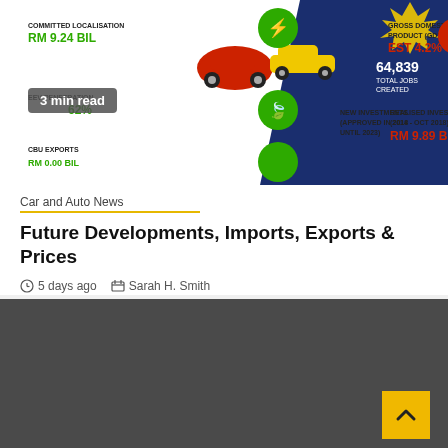[Figure (infographic): Malaysian automotive industry infographic showing: Committed Localisation RM 9.24 BIL, EEV Penetration 62%, CBU Exports (partially visible), Gross Domestic Product (GDP) EST 4.2%, New Investments (approved in 2018 until 2023), Realised Investments (2014 - OCT 2018) RM 9.89 BIL, 64,839 Total Jobs Created. Features green circles with icons, cars, and dark blue background with yellow accents. Badge: 3 min read.]
Car and Auto News
Future Developments, Imports, Exports & Prices
5 days ago   Sarah H. Smith
[Figure (photo): Dark gray/charcoal background section at bottom of page, partially visible content.]